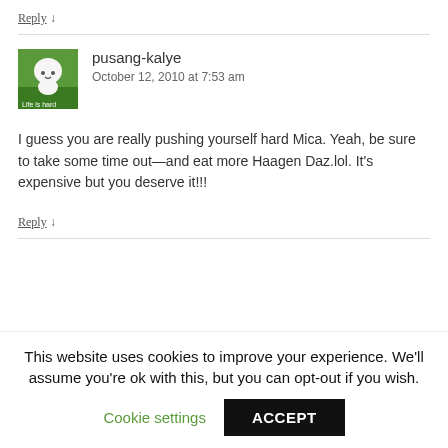Reply ↓
pusang-kalye
October 12, 2010 at 7:53 am
I guess you are really pushing yourself hard Mica. Yeah, be sure to take some time out—and eat more Haagen Daz.lol. It's expensive but you deserve it!!!
Reply ↓
This website uses cookies to improve your experience. We'll assume you're ok with this, but you can opt-out if you wish.
Cookie settings
ACCEPT